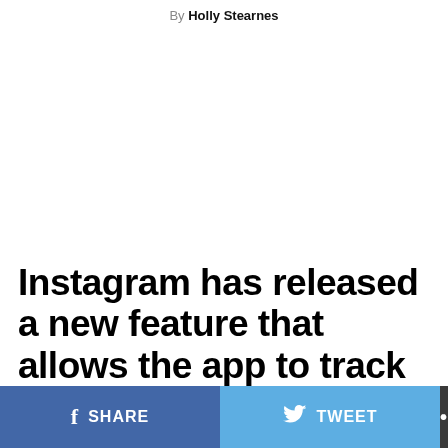By Holly Stearnes
Instagram has released a new feature that allows the app to track
SHARE   TWEET   ...